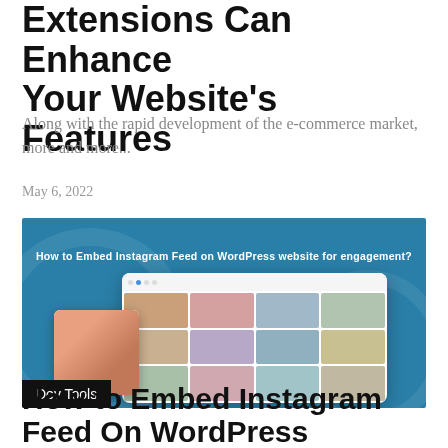Extensions Can Enhance Your Website's Features
Along with the rapid development of the e-commerce market, more and more...
May 6, 2022
[Figure (screenshot): Teal/blue promotional banner showing a WordPress Instagram feed embed plugin mockup with grid of photos and text 'How to Embed Instagram Feed on WordPress website for engagement?']
Dev Tools
How to Embed Instagram Feed On WordPress